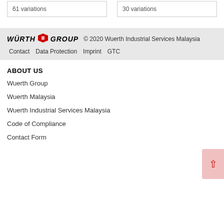61 variations
30 variations
WURTH GROUP © 2020 Wuerth Industrial Services Malaysia  Contact  Data Protection  Imprint  GTC
ABOUT US
Wuerth Group
Wuerth Malaysia
Wuerth Industrial Services Malaysia
Code of Compliance
Contact Form